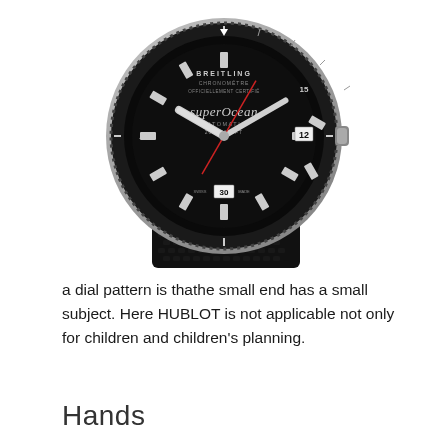[Figure (photo): Breitling SuperOcean Automatic 200M/660FT dive watch with black dial, silver case, and black mesh bracelet. The watch face shows BREITLING CHRONOMETER OFFICIELLEMENT CERTIFIE text at top, superOcean Automatic 200M/660FT branding, date window at 6 o'clock showing 30, and a date complication at 3 o'clock showing 12. Black rotating bezel with minute markers.]
a dial pattern is thathe small end has a small subject. Here HUBLOT is not applicable not only for children and children's planning.
Hands